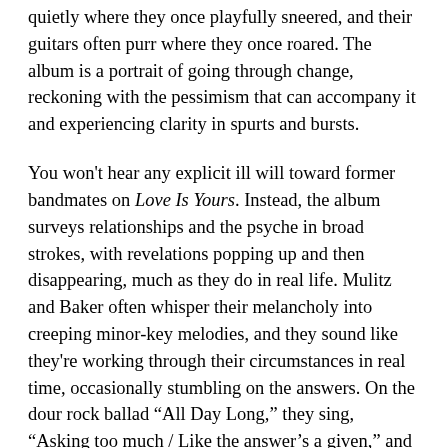quietly where they once playfully sneered, and their guitars often purr where they once roared. The album is a portrait of going through change, reckoning with the pessimism that can accompany it and experiencing clarity in spurts and bursts.
You won't hear any explicit ill will toward former bandmates on Love Is Yours. Instead, the album surveys relationships and the psyche in broad strokes, with revelations popping up and then disappearing, much as they do in real life. Mulitz and Baker often whisper their melancholy into creeping minor-key melodies, and they sound like they're working through their circumstances in real time, occasionally stumbling on the answers. On the dour rock ballad “All Day Long,” they sing, “Asking too much / Like the answer’s a given,” and it could stand in for the whole album’s journey: seeking truth and struggling to find it. At other points on the track, lyrics including “days are violence” and “thoughts are dull” surface as quickly as they fade: It’s tough to even